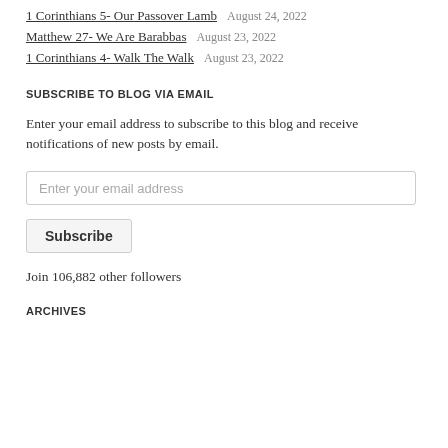1 Corinthians 5- Our Passover Lamb    August 24, 2022
Matthew 27- We Are Barabbas    August 23, 2022
1 Corinthians 4- Walk The Walk    August 23, 2022
SUBSCRIBE TO BLOG VIA EMAIL
Enter your email address to subscribe to this blog and receive notifications of new posts by email.
Enter your email address
Subscribe
Join 106,882 other followers
ARCHIVES